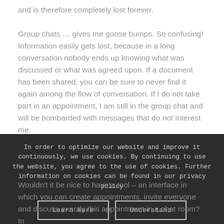and is therefore completely lost forever.
Group chats … gives me goose bumps. So confusing! Information easily gets lost, because in a long conversation nobody ends up knowing what was discussed or what was agreed upon. If a document has been shared, you can be sure to never find it again among the flow of conversation. If I do not take part in an appointment, I am still in the group chat and will be bombarded with messages that do not interest me.
In order to optimize our website and improve it continuously, we use cookies. By continuing to use the website, you agree to the use of cookies. Further information on cookies can be found in our privacy policy
Learn more
Understand
Wouldn't it be nice to have a tool – an interface in which you can create appointments, invite everyone and discuss exactly this appointment in a chat room? In